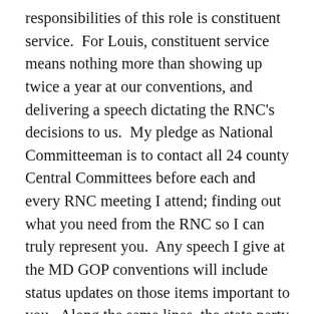responsibilities of this role is constituent service.  For Louis, constituent service means nothing more than showing up twice a year at our conventions, and delivering a speech dictating the RNC's decisions to us.  My pledge as National Committeeman is to contact all 24 county Central Committees before each and every RNC meeting I attend; finding out what you need from the RNC so I can truly represent you.  Any speech I give at the MD GOP conventions will include status updates on those items important to you.  Along the same lines, the state party needs to do a better job of “sharing the wealth” within our state.  For example, the annual Red, White, and Blue fundraising dinner should be rotated around